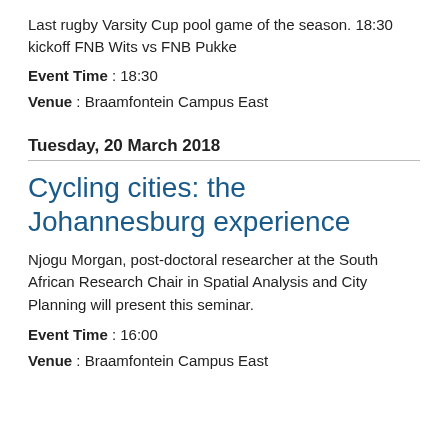Last rugby Varsity Cup pool game of the season. 18:30 kickoff FNB Wits vs FNB Pukke
Event Time : 18:30
Venue : Braamfontein Campus East
Tuesday, 20 March 2018
Cycling cities: the Johannesburg experience
Njogu Morgan, post-doctoral researcher at the South African Research Chair in Spatial Analysis and City Planning will present this seminar.
Event Time : 16:00
Venue : Braamfontein Campus East